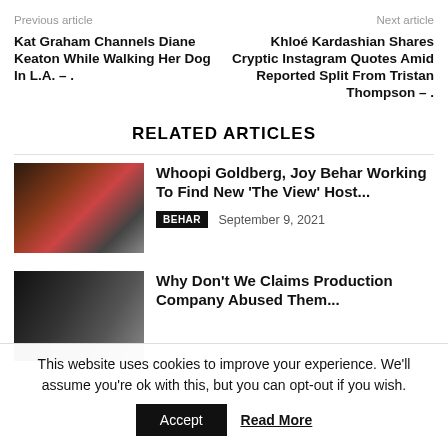Previous article
Next article
Kat Graham Channels Diane Keaton While Walking Her Dog In L.A. – .
Khloé Kardashian Shares Cryptic Instagram Quotes Amid Reported Split From Tristan Thompson – .
RELATED ARTICLES
[Figure (photo): Three women in a composite photo: one with dark dreadlocks, one with red hair and glasses in a red outfit, one with light hair in dark clothing]
Whoopi Goldberg, Joy Behar Working To Find New 'The View' Host...
BEHAR  September 9, 2021
[Figure (photo): Group of young men standing together in dark clothing]
Why Don't We Claims Production Company Abused Them...
This website uses cookies to improve your experience. We'll assume you're ok with this, but you can opt-out if you wish.
Accept
Read More